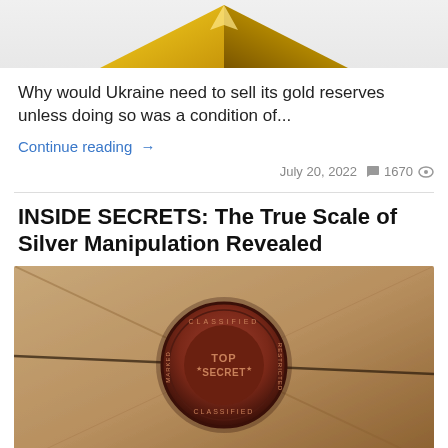[Figure (photo): Partial view of a gold pyramid or gold cube/bar against a light background, cropped at top]
Why would Ukraine need to sell its gold reserves unless doing so was a condition of…
Continue reading →
July 20, 2022   💬 1670 👁
INSIDE SECRETS: The True Scale of Silver Manipulation Revealed
[Figure (photo): Close-up photo of a wax seal stamp on a brown envelope. The seal reads 'TOP SECRET' with 'CLASSIFIED' around the border.]